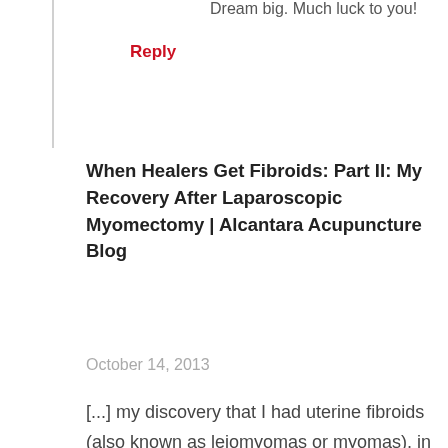Dream big. Much luck to you!
Reply
When Healers Get Fibroids: Part II: My Recovery After Laparoscopic Myomectomy | Alcantara Acupuncture Blog
October 14, 2013
[...] my discovery that I had uterine fibroids (also known as leiomyomas or myomas), in my post, “When Healers Get Fibroids (Or:  Honoring How We Birth Our Ideas Into The World)”.  At the time, it was a personal struggle for me as to whether or not to share my story